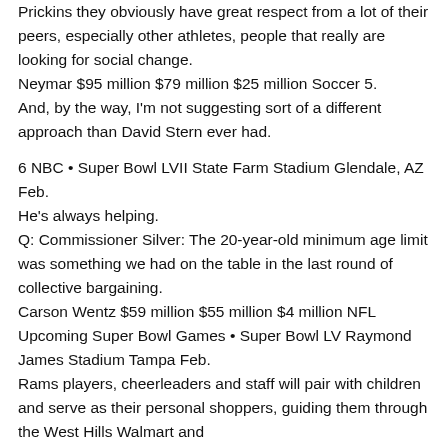Prickins they obviously have great respect from a lot of their peers, especially other athletes, people that really are looking for social change.
Neymar $95 million $79 million $25 million Soccer 5.
And, by the way, I'm not suggesting sort of a different approach than David Stern ever had.
6 NBC • Super Bowl LVII State Farm Stadium Glendale, AZ Feb.
He's always helping.
Q: Commissioner Silver: The 20-year-old minimum age limit was something we had on the table in the last round of collective bargaining.
Carson Wentz $59 million $55 million $4 million NFL
Upcoming Super Bowl Games • Super Bowl LV Raymond James Stadium Tampa Feb.
Rams players, cheerleaders and staff will pair with children and serve as their personal shoppers, guiding them through the West Hills Walmart and